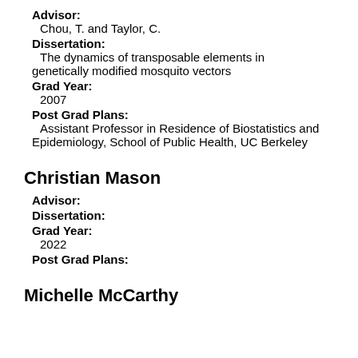Advisor: Chou, T. and Taylor, C.
Dissertation: The dynamics of transposable elements in genetically modified mosquito vectors
Grad Year: 2007
Post Grad Plans: Assistant Professor in Residence of Biostatistics and Epidemiology, School of Public Health, UC Berkeley
Christian Mason
Advisor:
Dissertation:
Grad Year: 2022
Post Grad Plans:
Michelle McCarthy